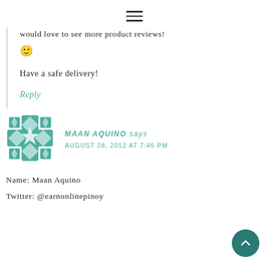≡ (hamburger menu icon)
would love to see more product reviews! 🙂
Have a safe delivery!
Reply
[Figure (illustration): Decorative geometric mandala-style avatar in teal/white for user Maan Aquino]
MAAN AQUINO says
AUGUST 28, 2012 AT 7:46 PM
Name: Maan Aquino
Twitter: @earnonlinepinoy